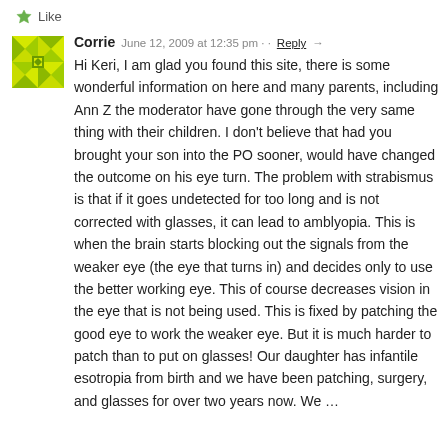Like
Corrie   June 12, 2009 at 12:35 pm · · Reply →
Hi Keri, I am glad you found this site, there is some wonderful information on here and many parents, including Ann Z the moderator have gone through the very same thing with their children. I don't believe that had you brought your son into the PO sooner, would have changed the outcome on his eye turn. The problem with strabismus is that if it goes undetected for too long and is not corrected with glasses, it can lead to amblyopia. This is when the brain starts blocking out the signals from the weaker eye (the eye that turns in) and decides only to use the better working eye. This of course decreases vision in the eye that is not being used. This is fixed by patching the good eye to work the weaker eye. But it is much harder to patch than to put on glasses! Our daughter has infantile esotropia from birth and we have been patching, surgery, and glasses for over two years now. We …